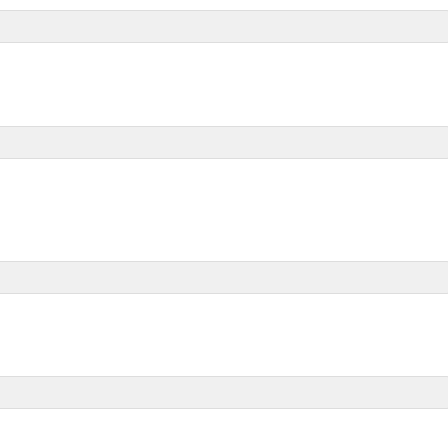add ExecAdaptor Df 60 ...
This adaptor will run df eve...
UDPAdaptor Takes a port n... for each received packet.
add UdpAdaptor Packets...
This adaptor will listen for i...
edu.berkeley.chukwa_xtra... [without package] as manda... as that ReportSource would.
add edu.berkeley.chuk...
This adaptor will create and...
sigar.SystemMetrics This a... machine, and emits data as...
add sigar.SystemMetri...
This adaptor will take snaps...